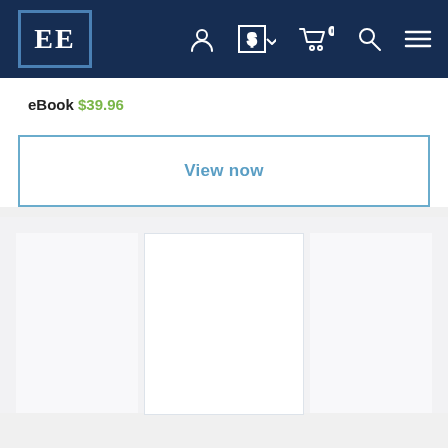[Figure (screenshot): Edward Elgar Publishing website navigation bar with logo (EE in box), user account icon, currency selector ($), cart (0 items), search, and menu icons on dark navy background]
eBook $39.96
View now
[Figure (screenshot): Lower section with three content card placeholders on a light grey background — left and right cards are light grey, center card is white with border, all appearing as loading placeholders]